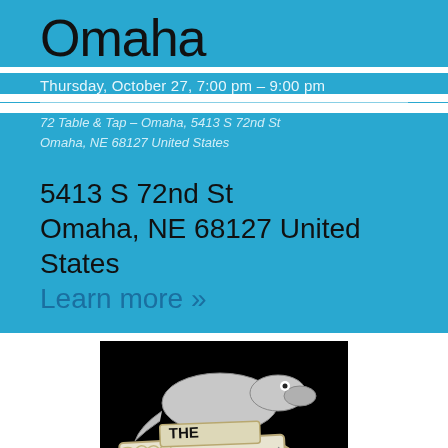Omaha
Thursday, October 27, 7:00 pm – 9:00 pm
72 Table & Tap – Omaha, 5413 S 72nd St Omaha, NE 68127 United States
5413 S 72nd St
Omaha, NE 68127 United States
Learn more »
[Figure (logo): The Sociable Inn logo — a cartoon alligator/crocodile holding a sign reading 'THE SOCIABLE INN', black background, illustrated style]